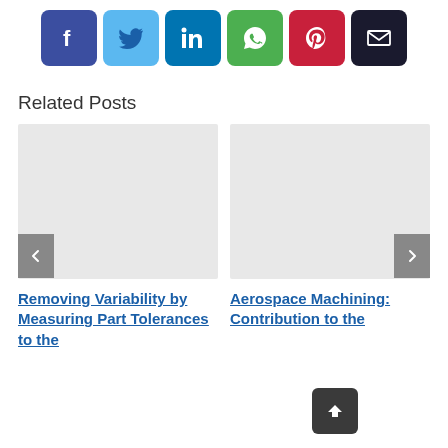[Figure (infographic): Social media share buttons: Facebook (purple-blue), Twitter (light blue), LinkedIn (dark blue), WhatsApp (green), Pinterest (red), Email (black)]
Related Posts
[Figure (photo): Placeholder image for related post: Removing Variability by Measuring Part Tolerances to the]
Removing Variability by Measuring Part Tolerances to the
[Figure (photo): Placeholder image for related post: Aerospace Machining: Contribution to the]
Aerospace Machining: Contribution to the